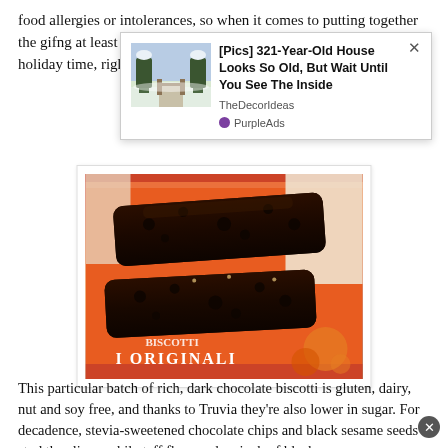food allergies or intolerances, so when it comes to putting together the gift …ng at least a …to bake a… is a true gi… …erve a little sweet joy at the holiday time, right?
[Figure (other): Advertisement overlay: '[Pics] 321-Year-Old House Looks So Old, But Wait Until You See The Inside' from TheDecorIdeas, with PurpleAds branding and a winter landscape thumbnail.]
[Figure (photo): Photo of dark chocolate biscotti slices on a red and orange decorative tin labeled 'ORIGINALI'.]
This particular batch of rich, dark chocolate biscotti is gluten, dairy, nut and soy free, and thanks to Truvia they're also lower in sugar. For decadence, stevia-sweetened chocolate chips and black sesame seeds stud the slices, while teff flour and a pinch of black…